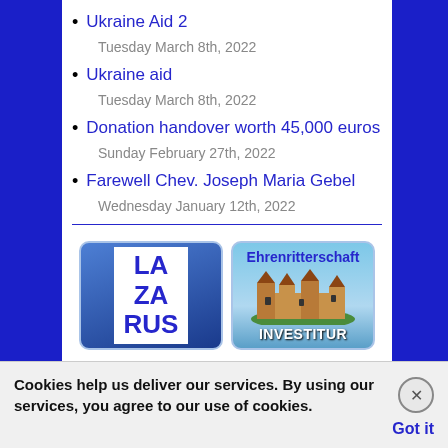Ukraine Aid 2
Tuesday March 8th, 2022
Ukraine aid
Tuesday March 8th, 2022
Donation handover worth 45,000 euros
Sunday February 27th, 2022
Farewell Chev. Joseph Maria Gebel
Wednesday January 12th, 2022
[Figure (logo): LAZARUS logo on blue gradient background]
[Figure (illustration): Ehrenritterschaft Investitur - castle image with label]
Cookies help us deliver our services. By using our services, you agree to our use of cookies. Got it